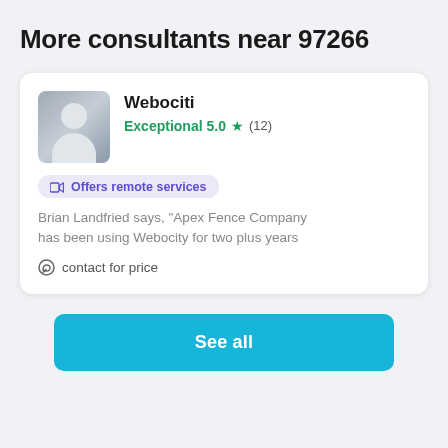More consultants near 97266
Webociti
Exceptional 5.0 ★ (12)
📹 Offers remote services
Brian Landfried says, "Apex Fence Company has been using Webocity for two plus years
💬 contact for price
See all